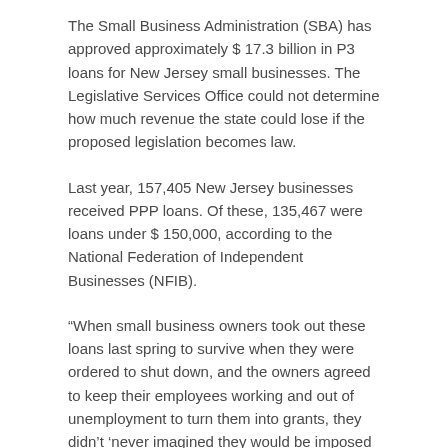The Small Business Administration (SBA) has approved approximately $ 17.3 billion in P3 loans for New Jersey small businesses. The Legislative Services Office could not determine how much revenue the state could lose if the proposed legislation becomes law.
Last year, 157,405 New Jersey businesses received PPP loans. Of these, 135,467 were loans under $ 150,000, according to the National Federation of Independent Businesses (NFIB).
“When small business owners took out these loans last spring to survive when they were ordered to shut down, and the owners agreed to keep their employees working and out of unemployment to turn them into grants, they didn’t ‘never imagined they would be imposed by the government,’ NFIB New Jersey State Director Eileen Kean said in a press release.